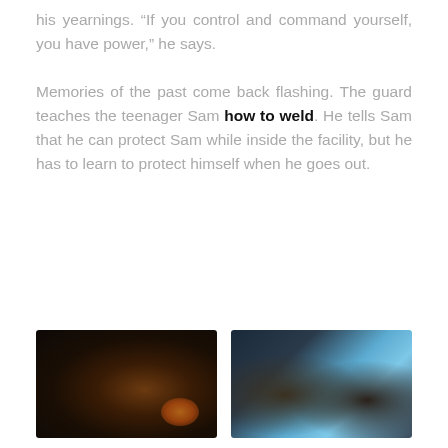his yearnings. “If you control and command yourself, you have power,” he says.

Memories of the past come back flashing. The guard teaches the teenager Sam how to weld. He tells Sam that he can protect Sam while inside the facility, but he has to learn to protect himself when he goes out.
[Figure (photo): Dark moody close-up photo, dim warm amber/orange lighting on a figure, very dark background]
[Figure (photo): Two figures leaning together, bright blue vertical stripe background, one person appears to be an older man and one a younger man]